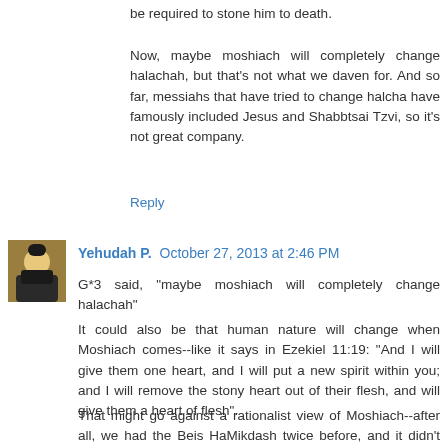be required to stone him to death.
Now, maybe moshiach will completely change halachah, but that's not what we daven for. And so far, messiahs that have tried to change halcha have famously included Jesus and Shabbtsai Tzvi, so it's not great company.
Reply
Yehudah P. October 27, 2013 at 2:46 PM
G*3 said, "maybe moshiach will completely change halachah"
It could also be that human nature will change when Moshiach comes--like it says in Ezekiel 11:19: "And I will give them one heart, and I will put a new spirit within you; and I will remove the stony heart out of their flesh, and will give them a heart of flesh". That might go against a rationalist view of Moshiach--after all, we had the Beis HaMikdash twice before, and it didn't succeed in changing human nature. But let's just say they